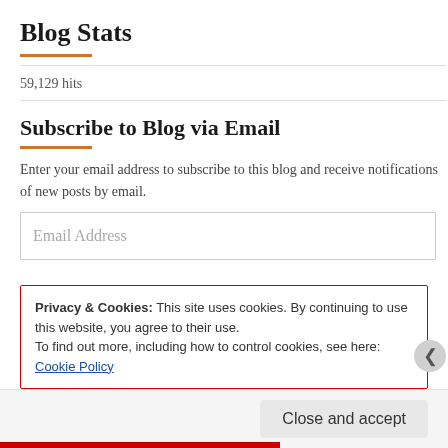Blog Stats
59,129 hits
Subscribe to Blog via Email
Enter your email address to subscribe to this blog and receive notifications of new posts by email.
Privacy & Cookies: This site uses cookies. By continuing to use this website, you agree to their use. To find out more, including how to control cookies, see here: Cookie Policy
Close and accept